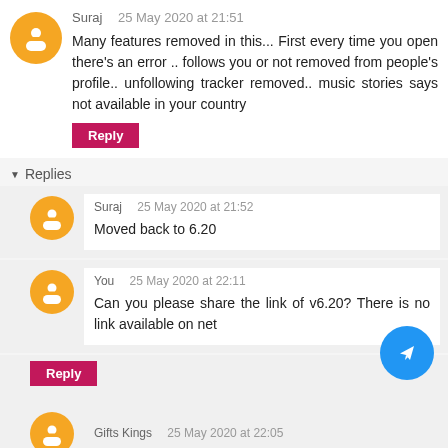Suraj   25 May 2020 at 21:51
Many features removed in this... First every time you open there's an error .. follows you or not removed from people's profile.. unfollowing tracker removed.. music stories says not available in your country
Reply
▼ Replies
Suraj   25 May 2020 at 21:52
Moved back to 6.20
You   25 May 2020 at 22:11
Can you please share the link of v6.20? There is no link available on net
Reply
Gifts Kings   25 May 2020 at 22:05